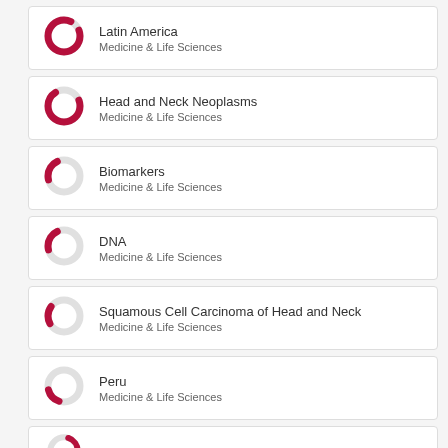[Figure (donut-chart): Donut chart icon, mostly crimson/dark pink filled, small gap]
Latin America
Medicine & Life Sciences
[Figure (donut-chart): Donut chart icon, mostly crimson/dark pink filled with larger gap]
Head and Neck Neoplasms
Medicine & Life Sciences
[Figure (donut-chart): Donut chart icon, mostly light gray with small crimson segment bottom-left]
Biomarkers
Medicine & Life Sciences
[Figure (donut-chart): Donut chart icon, mostly light gray with small crimson segment bottom-left]
DNA
Medicine & Life Sciences
[Figure (donut-chart): Donut chart icon, mostly light gray with small crimson segment bottom-left]
Squamous Cell Carcinoma of Head and Neck
Medicine & Life Sciences
[Figure (donut-chart): Donut chart icon, mostly light gray with small crimson segment]
Peru
Medicine & Life Sciences
[Figure (donut-chart): Donut chart icon, partially visible, mostly crimson]
Argentina